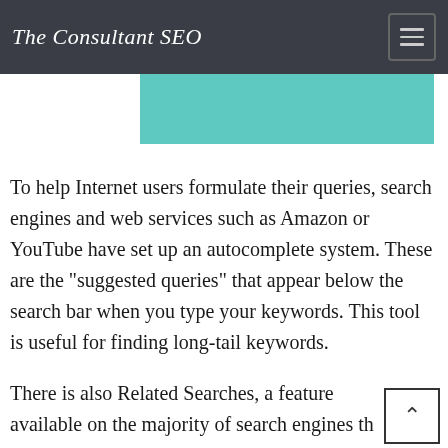The Consultant SEO
[Figure (other): Teal/turquoise decorative banner bar]
To help Internet users formulate their queries, search engines and web services such as Amazon or YouTube have set up an autocomplete system. These are the "suggested queries" that appear below the search bar when you type your keywords. This tool is useful for finding long-tail keywords.
There is also Related Searches, a feature available on the majority of search engines th you can use to inspire you. Also, note that